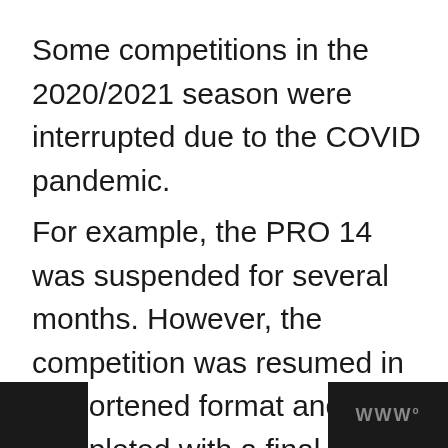Some competitions in the 2020/2021 season were interrupted due to the COVID pandemic.
For example, the PRO 14 was suspended for several months. However, the competition was resumed in a shortened format and was completed with a final.
WWº